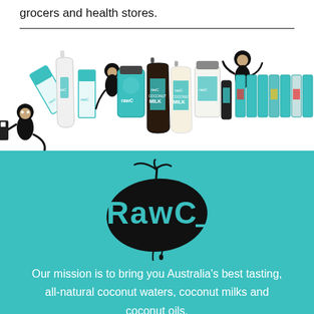grocers and health stores.
[Figure (photo): A lineup of Raw C coconut water and coconut milk products in various bottle and carton formats, with cartoon monkey characters interspersed among them.]
[Figure (logo): Raw C logo — black coconut island shape with teal 'RawC' lettering and a palm tree on top, on a teal background.]
Our mission is to bring you Australia's best tasting, all-natural coconut waters, coconut milks and coconut oils.